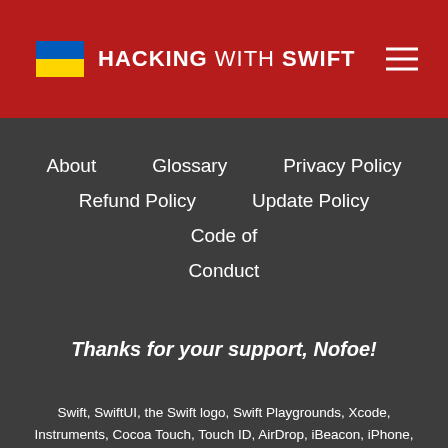HACKING WITH SWIFT
About
Glossary
Privacy Policy
Refund Policy
Update Policy
Code of Conduct
Thanks for your support, Nofoe!
Swift, SwiftUI, the Swift logo, Swift Playgrounds, Xcode, Instruments, Cocoa Touch, Touch ID, AirDrop, iBeacon, iPhone, iPad, Safari, App Store, watchOS, tvOS, Mac and macOS are trademarks of Apple Inc., registered in the U.S. and other countries. Pulp Fiction is copyright © 1994 Miramax Films.